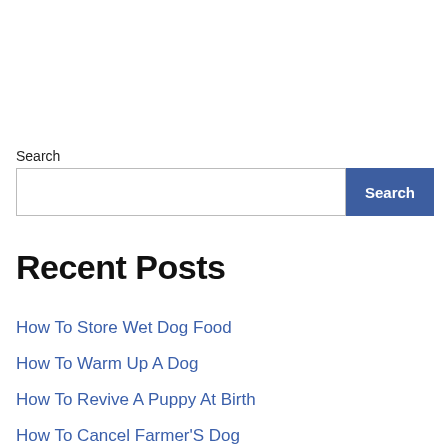Search
[Figure (other): Search bar with a text input field and a blue 'Search' button]
Recent Posts
How To Store Wet Dog Food
How To Warm Up A Dog
How To Revive A Puppy At Birth
How To Cancel Farmer'S Dog